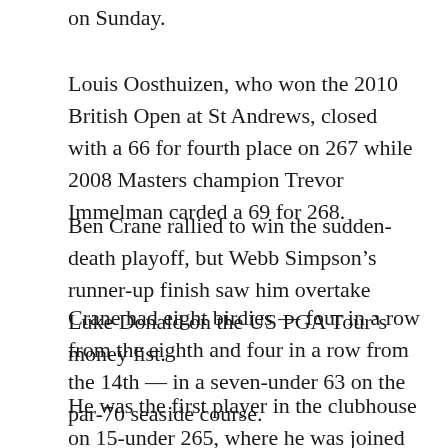on Sunday.
Louis Oosthuizen, who won the 2010 British Open at St Andrews, closed with a 66 for fourth place on 267 while 2008 Masters champion Trevor Immelman carded a 69 for 268.
Ben Crane rallied to win the sudden-death playoff, but Webb Simpson’s runner-up finish saw him overtake Luke Donald on the US PGA Tour’s money list.
Crane had eight birdies — four in a row from the eighth and four in a row from the 14th — in a seven-under 63 on the par-70 seaside course.
He was the first player in the clubhouse on 15-under 265, where he was joined by Simpson, who posted a closing 66.